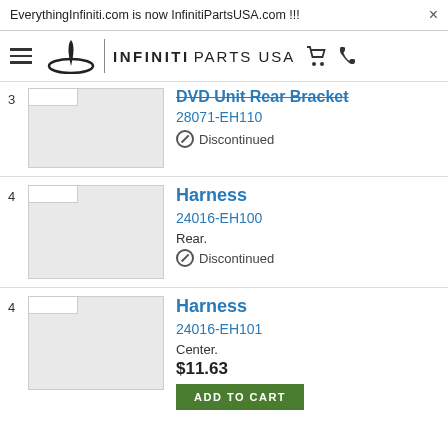EverythingInfiniti.com is now InfinitiPartsUSA.com !!!
[Figure (logo): Infiniti Parts USA logo with hamburger menu, Infiniti symbol, divider, and text INFINITI PARTS USA with cart and phone icons]
3 DVD Unit Rear Bracket 28071-EH110 Discontinued
4 Harness 24016-EH100 Rear. Discontinued
4 Harness 24016-EH101 Center. $11.63 ADD TO CART